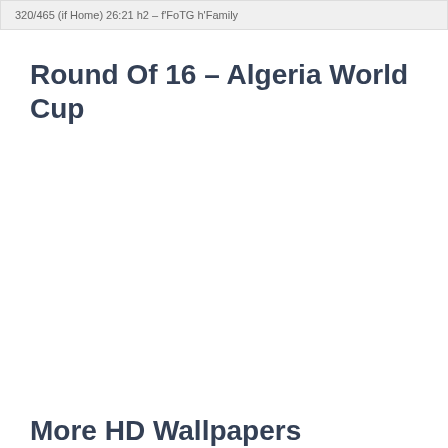320/465 (if Home) 26:21 h2 – f'FoTG h'Family
Round Of 16 – Algeria World Cup
More HD Wallpapers